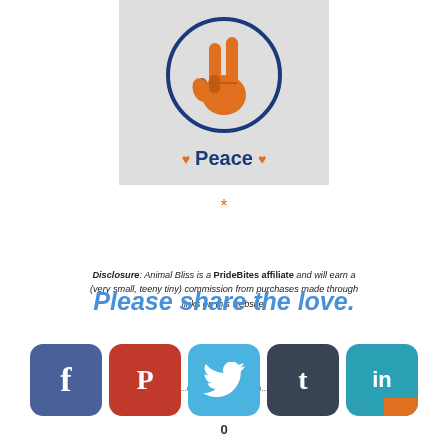[Figure (illustration): Peace hand sign (V sign) in orange inside a blue circle on a light gray background, with orange hearts and bold blue text 'Peace' below]
*
Please share the love.
Disclosure: Animal Bliss is a PrideBites affiliate and will earn a (very small, teeny tiny) commission from purchases made through links on this website.
[Figure (infographic): Social share bar with Facebook, Pinterest, Twitter, Tumblr, and LinkedIn buttons, with share count 0 below]
0